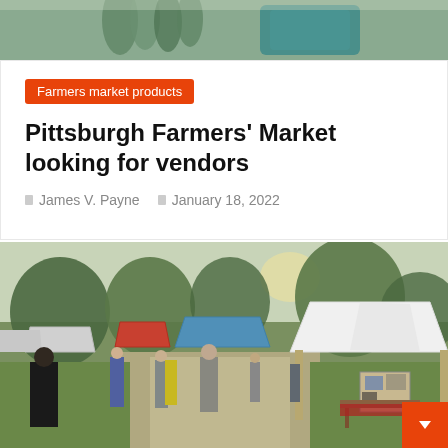[Figure (photo): Close-up of vegetables (green onions/leeks) and a green bag/container at a farmers market, cropped at top]
Farmers market products
Pittsburgh Farmers' Market looking for vendors
James V. Payne   January 18, 2022
[Figure (photo): Outdoor farmers market scene with vendor tents (white, blue, red), a path with people walking and shopping, trees in background, green grass, and various market stalls with goods displayed]